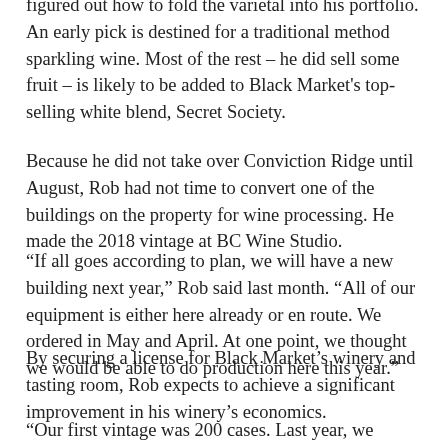figured out how to fold the varietal into his portfolio. An early pick is destined for a traditional method sparkling wine. Most of the rest – he did sell some fruit – is likely to be added to Black Market's top-selling white blend, Secret Society.
Because he did not take over Conviction Ridge until August, Rob had not time to convert one of the buildings on the property for wine processing. He made the 2018 vintage at BC Wine Studio.
“If all goes according to plan, we will have a new building next year,” Rob said last month. “All of our equipment is either here already or en route. We ordered in May and April. At one point, we thought we would be able to do production here this year.”
By securing a license for Black Market’s winery and tasting room, Rob expects to achieve a significant improvement in his winery’s economics.
“Our first vintage was 200 cases. Last year, we produced just over 1,000 cases,” he says. “This year it will be about 1,600